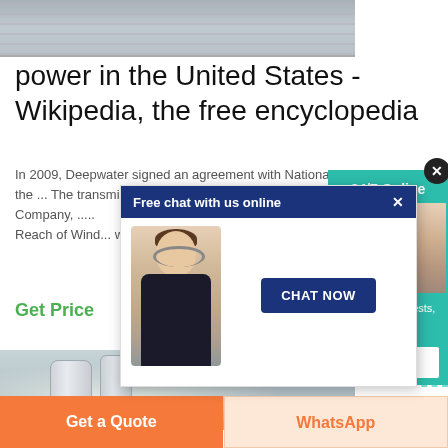[Figure (photo): Top portion of a metal/industrial component photo, partially visible]
power in the United States - Wikipedia, the free encyclopedia
In 2009, Deepwater signed an agreement with National Grid to sell the ... The transmission line, proposed by Trans-E... Company, ..... Reach of Wind... wind turbine p...
Get Price
[Figure (screenshot): Free chat with us online popup with a chat agent photo and CHAT NOW button]
[Figure (infographic): 24/7 Online support widget with agent photo, Have any requests click here, and Quotation button]
[Figure (photo): Bottom industrial photo showing pipes and factory interior]
Get a Quote
WhatsApp